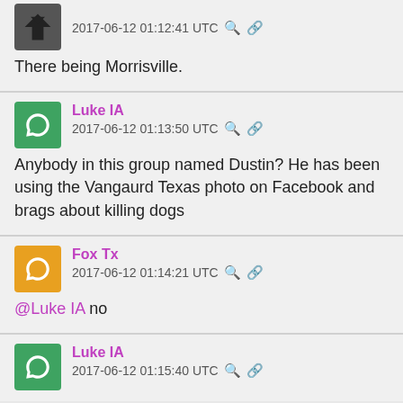2017-06-12 01:12:41 UTC
There being Morrisville.
Luke IA
2017-06-12 01:13:50 UTC
Anybody in this group named Dustin? He has been using the Vangaurd Texas photo on Facebook and brags about killing dogs
Fox Tx
2017-06-12 01:14:21 UTC
@Luke IA no
Luke IA
2017-06-12 01:15:40 UTC